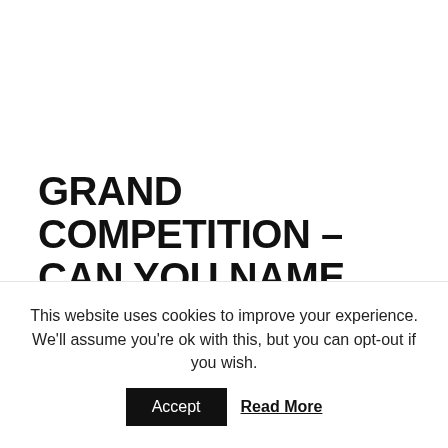GRAND COMPETITION – CAN YOU NAME THE NEW COCKTAIL?
JULY 18, 2017   CHARLOTTE HORLOCK   FOOD &
This website uses cookies to improve your experience. We'll assume you're ok with this, but you can opt-out if you wish.